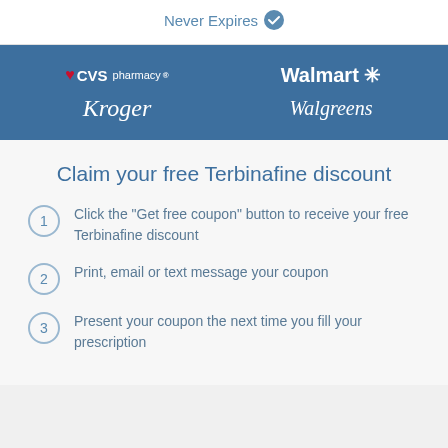Never Expires
[Figure (logo): Four pharmacy logos: CVS pharmacy, Walmart, Kroger, Walgreens on blue background]
Claim your free Terbinafine discount
1. Click the "Get free coupon" button to receive your free Terbinafine discount
2. Print, email or text message your coupon
3. Present your coupon the next time you fill your prescription